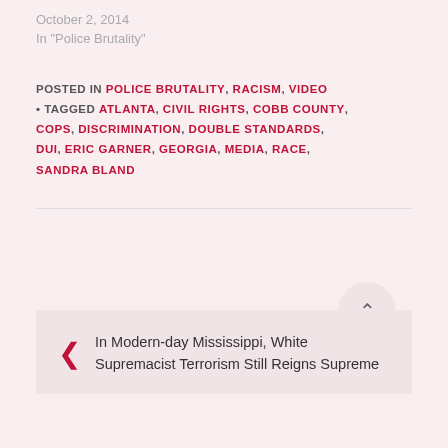October 2, 2014
In "Police Brutality"
POSTED IN POLICE BRUTALITY, RACISM, VIDEO • TAGGED ATLANTA, CIVIL RIGHTS, COBB COUNTY, COPS, DISCRIMINATION, DOUBLE STANDARDS, DUI, ERIC GARNER, GEORGIA, MEDIA, RACE, SANDRA BLAND
In Modern-day Mississippi, White Supremacist Terrorism Still Reigns Supreme